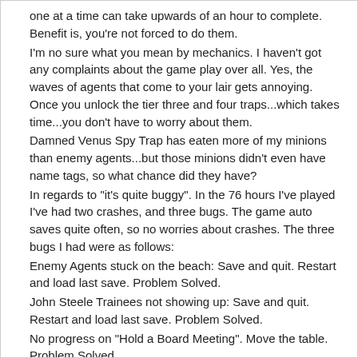one at a time can take upwards of an hour to complete.  Benefit is, you're not forced to do them.
I'm no sure what you mean by mechanics.  I haven't got any complaints about the game play over all.  Yes, the waves of agents that come to your lair gets annoying.  Once you unlock the tier three and four traps...which takes time...you don't have to worry about them.
Damned Venus Spy Trap has eaten more of my minions than enemy agents...but those minions didn't even have name tags, so what chance did they have?
In regards to "it's quite buggy".  In the 76 hours I've played I've had two crashes, and three bugs.  The game auto saves quite often, so no worries about crashes.  The three bugs I had were as follows:
Enemy Agents stuck on the beach:  Save and quit.  Restart and load last save.   Problem Solved.
John Steele Trainees not showing up: Save and quit.  Restart and load last save.  Problem Solved.
No progress on "Hold a Board Meeting".   Move the table.  Problem Solved.
Bear in mind, I'm playing as Maximilian.
Hope it helps.  Like I said $50.00 CDN, you can't go wrong.